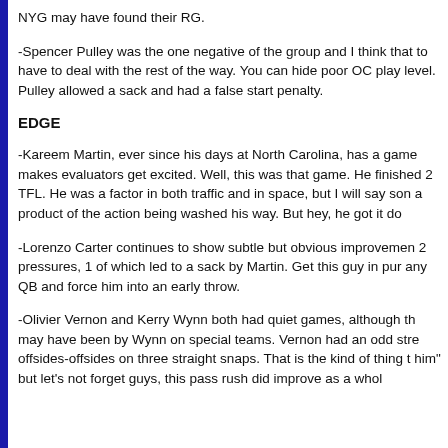NYG may have found their RG.
-Spencer Pulley was the one negative of the group and I think that to have to deal with the rest of the way. You can hide poor OC play level. Pulley allowed a sack and had a false start penalty.
EDGE
-Kareem Martin, ever since his days at North Carolina, has a game makes evaluators get excited. Well, this was that game. He finished 2 TFL. He was a factor in both traffic and in space, but I will say some a product of the action being washed his way. But hey, he got it do
-Lorenzo Carter continues to show subtle but obvious improvement 2 pressures, 1 of which led to a sack by Martin. Get this guy in pur any QB and force him into an early throw.
-Olivier Vernon and Kerry Wynn both had quiet games, although th may have been by Wynn on special teams. Vernon had an odd stre offsides-offsides on three straight snaps. That is the kind of thing t him" but let's not forget guys, this pass rush did improve as a whol